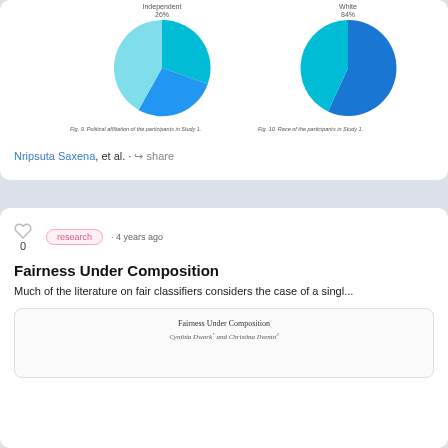[Figure (pie-chart): Pie chart showing political affiliation of participants in Study 1]
Fig. 9. Political affiliation of the participants in Study 1.
[Figure (pie-chart): Pie chart showing race of participants in Study 1]
Fig. 10. Race of the participants in Study 1.
Nripsuta Saxena, et al. · share
research · 4 years ago
Fairness Under Composition
Much of the literature on fair classifiers considers the case of a singl...
[Figure (screenshot): Preview of paper 'Fairness Under Composition' by Cynthia Dwork and Christina Ilvento]